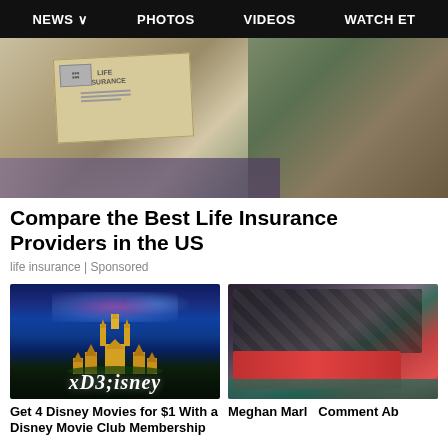NEWS  PHOTOS  VIDEOS  WATCH ET
[Figure (photo): Person holding a Life Insurance envelope document, green jacket visible in background]
Compare the Best Life Insurance Providers in the US
life insurance | Sponsored
[Figure (photo): Disney castle with Disney logo at night with colorful sky]
Get 4 Disney Movies for $1 With a Disney Movie Club Membership
[Figure (photo): Meghan Markle photo, partial view]
Meghan Markle Comment Ab